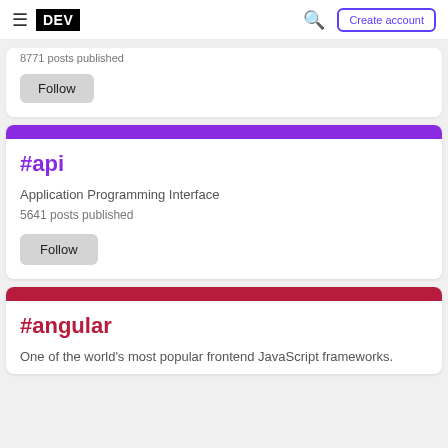DEV — Create account
8771 posts published
Follow
#api
Application Programming Interface
5641 posts published
Follow
#angular
One of the world's most popular frontend JavaScript frameworks.